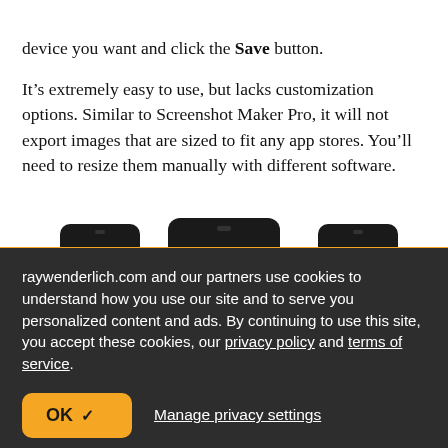device you want and click the Save button.
It's extremely easy to use, but lacks customization options. Similar to Screenshot Maker Pro, it will not export images that are sized to fit any app stores. You'll need to resize them manually with different software.
[Figure (photo): Partial view of multiple device mockups (smartphones/tablets) shown from the top, with dark bezels, against a white background, partially cut off at the bottom of the content area.]
raywenderlich.com and our partners use cookies to understand how you use our site and to serve you personalized content and ads. By continuing to use this site, you accept these cookies, our privacy policy and terms of service.
OK ✓   Manage privacy settings